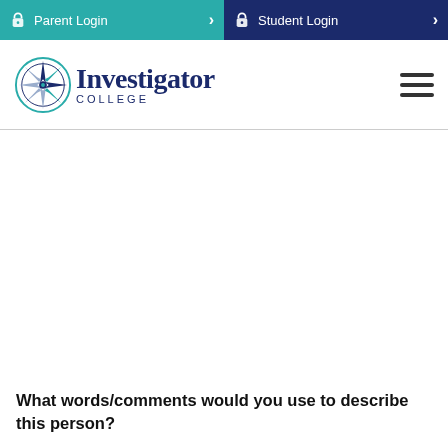Parent Login
Student Login
[Figure (logo): Investigator College logo with compass rose and text]
What words/comments would you use to describe this person?